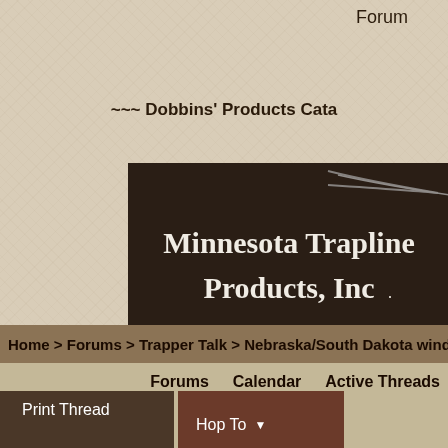Forum
~~~ Dobbins' Products Cata
[Figure (logo): Minnesota Trapline Products, Inc. company banner/logo on dark brown background with fork graphic and red URL www.minntrapprod.com]
Please support our sponsor for the Trappers Talk Page
Home > Forums > Trapper Talk > Nebraska/South Dakota wind
Forums   Calendar   Active Threads
Print Thread   Hop To